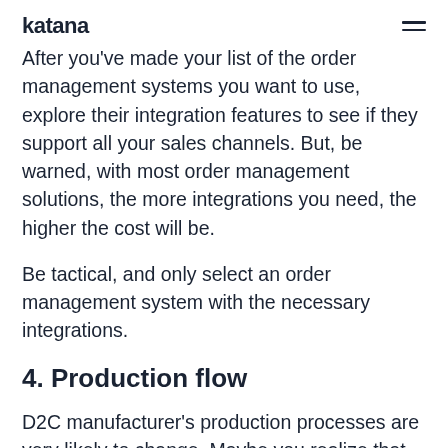katana
After you've made your list of the order management systems you want to use, explore their integration features to see if they support all your sales channels. But, be warned, with most order management solutions, the more integrations you need, the higher the cost will be.
Be tactical, and only select an order management system with the necessary integrations.
4. Production flow
D2C manufacturer's production processes are very likely to change. Maybe you realize that an